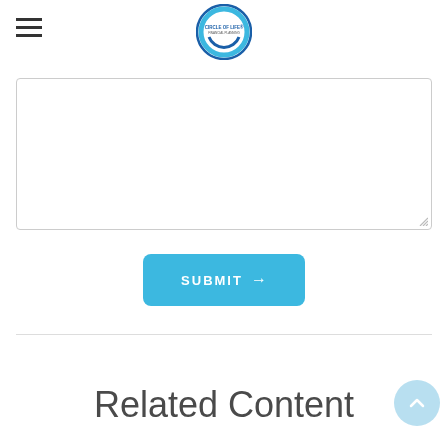[Figure (logo): Circle of Life Financial Planning logo — circular icon with blue rings and text in center]
[Figure (screenshot): Text area input field (empty) with resize handle at bottom right]
SUBMIT →
Related Content